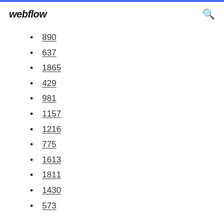webflow
890
637
1865
429
981
1157
1216
775
1613
1811
1430
573